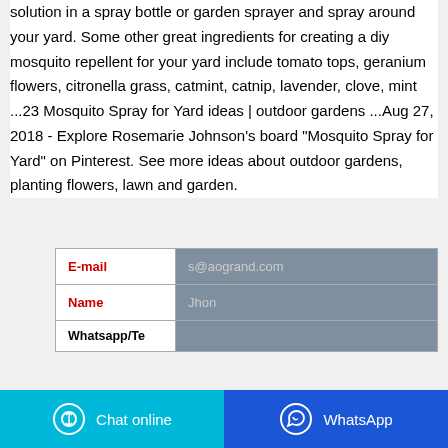solution in a spray bottle or garden sprayer and spray around your yard. Some other great ingredients for creating a diy mosquito repellent for your yard include tomato tops, geranium flowers, citronella grass, catmint, catnip, lavender, clove, mint ...23 Mosquito Spray for Yard ideas | outdoor gardens ...Aug 27, 2018 - Explore Rosemarie Johnson's board "Mosquito Spray for Yard" on Pinterest. See more ideas about outdoor gardens, planting flowers, lawn and garden.
| Field | Value |
| --- | --- |
| E-mail | s@aogrand.com |
| Name | Jhon |
| Whatsapp/Te |  |
Chat online  WhatsApp